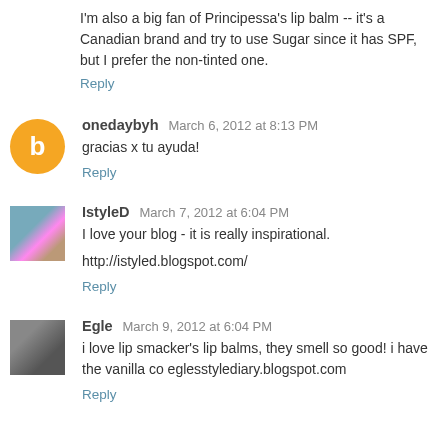I'm also a big fan of Principessa's lip balm -- it's a Canadian brand and try to use Sugar since it has SPF, but I prefer the non-tinted one.
Reply
onedaybyh  March 6, 2012 at 8:13 PM
gracias x tu ayuda!
Reply
IstyleD  March 7, 2012 at 6:04 PM
I love your blog - it is really inspirational.
http://istyled.blogspot.com/
Reply
Egle  March 9, 2012 at 6:04 PM
i love lip smacker's lip balms, they smell so good! i have the vanilla co eglesstylediary.blogspot.com
Reply